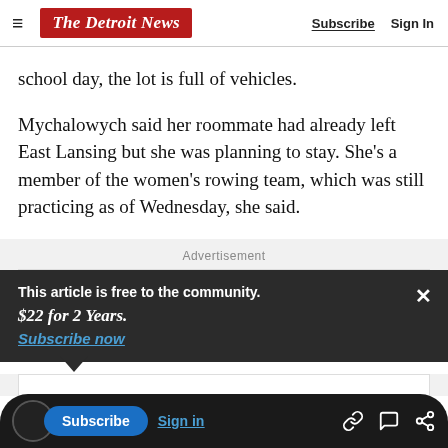The Detroit News | Subscribe | Sign In
school day, the lot is full of vehicles.
Mychalowych said her roommate had already left East Lansing but she was planning to stay. She's a member of the women's rowing team, which was still practicing as of Wednesday, she said.
Advertisement
This article is free to the community.
$22 for 2 Years.
Subscribe now